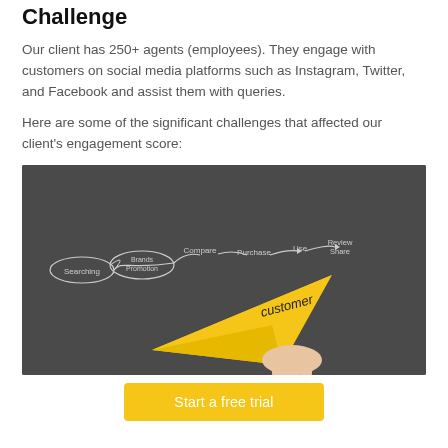Challenge
Our client has 250+ agents (employees). They engage with customers on social media platforms such as Instagram, Twitter, and Facebook and assist them with queries.
Here are some of the significant challenges that affected our client's engagement score:
[Figure (photo): A hand holding a yellow paper airplane with the word 'customer' written on it, against a dark chalkboard background with a customer journey diagram showing steps: Searching, Brands Promotion, Compare, Purchase, Use, Review/Share.]
Start a free trial